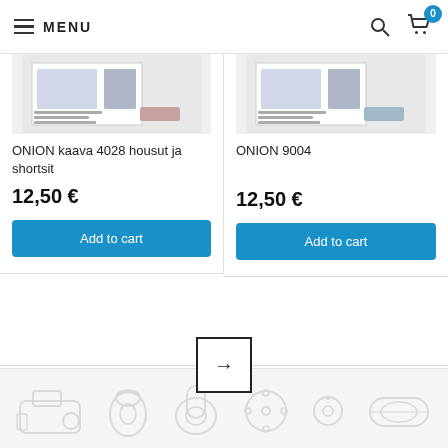MENU
[Figure (screenshot): Product image for ONION kaava 4028 housut ja shortsit — small thumbnail showing a sewing pattern booklet]
ONION kaava 4028 housut ja shortsit
12,50 €
Add to cart
[Figure (screenshot): Product image for ONION 9004 — small thumbnail showing a sewing pattern booklet]
ONION 9004
12,50 €
Add to cart
[Figure (other): Pagination next-page arrow button (→) centered on a horizontal rule]
[Figure (illustration): Footer decorative bar with light gray sewing/craft icons: sewing machine, thimble, thread spool, button, bobbin, fabric roll]